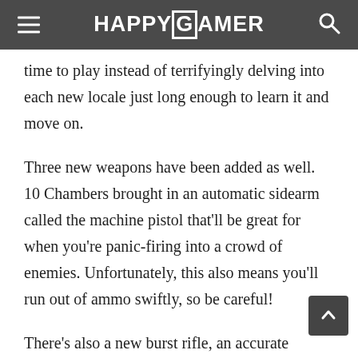HAPPYGAMER
time to play instead of terrifyingly delving into each new locale just long enough to learn it and move on.
Three new weapons have been added as well. 10 Chambers brought in an automatic sidearm called the machine pistol that'll be great for when you're panic-firing into a crowd of enemies. Unfortunately, this also means you'll run out of ammo swiftly, so be careful!
There's also a new burst rifle, an accurate